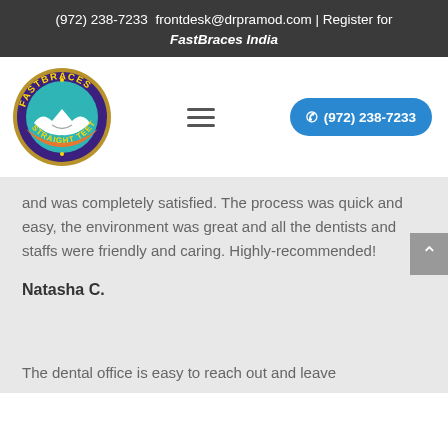(972) 238-7233  frontdesk@drpramod.com | Register for FastBraces India
[Figure (logo): FastBraces logo — circular badge with 'FASTBRACES STRAIGHT TEETH' text around the border, teal and orange design with a smiling tooth motif]
and was completely satisfied. The process was quick and easy, the environment was great and all the dentists and staffs were friendly and caring. Highly-recommended!
Natasha C.
The dental office is easy to reach out and leave